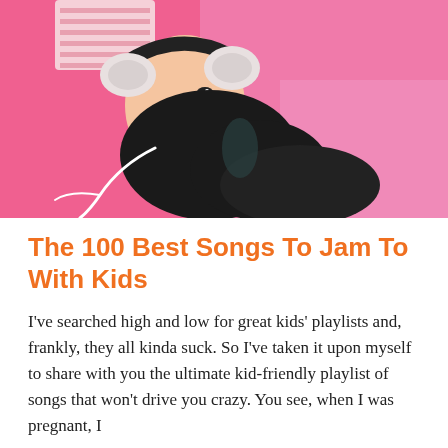[Figure (photo): Overhead view of a young woman with dark hair lying on a pink background, wearing white over-ear headphones with white earphone cord visible, and a striped pink and white top.]
The 100 Best Songs To Jam To With Kids
I've searched high and low for great kids' playlists and, frankly, they all kinda suck. So I've taken it upon myself to share with you the ultimate kid-friendly playlist of songs that won't drive you crazy. You see, when I was pregnant, I